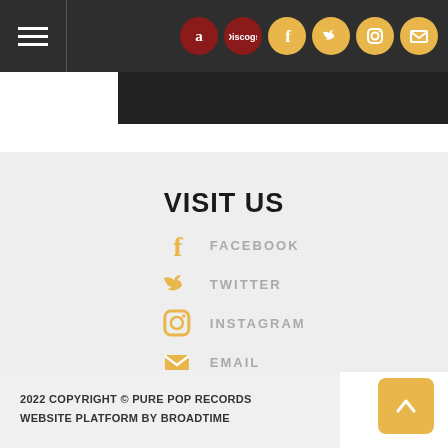Navigation bar with hamburger menu and social icons: Amazon, Discogs, Facebook, Twitter, Instagram, Email
VISIT US
FACEBOOK
TWITTER
INSTAGRAM
EMAIL
2022 COPYRIGHT © PURE POP RECORDS
WEBSITE PLATFORM BY BROADTIME